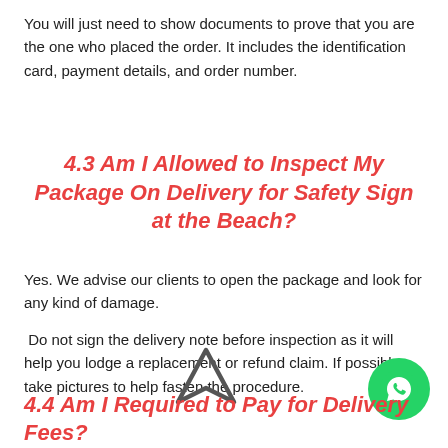You will just need to show documents to prove that you are the one who placed the order. It includes the identification card, payment details, and order number.
4.3 Am I Allowed to Inspect My Package On Delivery for Safety Sign at the Beach?
Yes. We advise our clients to open the package and look for any kind of damage.
Do not sign the delivery note before inspection as it will help you lodge a replacement or refund claim. If possible, take pictures to help fasten the procedure.
4.4 Am I Required to Pay for Delivery Fees?